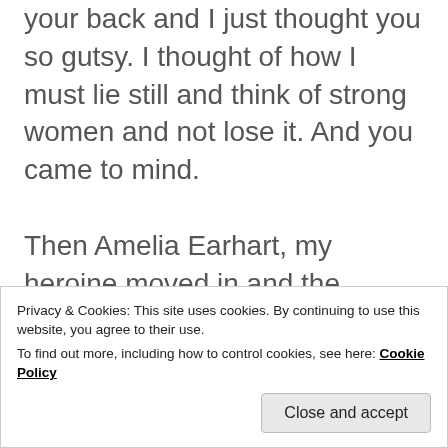your back and I just thought you so gutsy. I thought of how I must lie still and think of strong women and not lose it. And you came to mind.
Then Amelia Earhart, my heroine moved in and the goddess Kali told me to suck it up! Medusa hissed and grinned.
We women can be like for each other.
Privacy & Cookies: This site uses cookies. By continuing to use this website, you agree to their use.
To find out more, including how to control cookies, see here: Cookie Policy
Close and accept